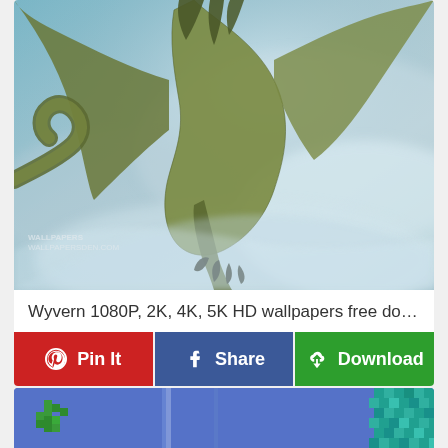[Figure (illustration): Fantasy digital art illustration of a Wyvern dragon creature with claws and wings emerging from misty/cloudy atmosphere, in blue-grey and olive/gold tones. Watermark text visible in lower left corner.]
Wyvern 1080P, 2K, 4K, 5K HD wallpapers free downlo...
Pin It
Share
Download
[Figure (screenshot): Partial view of a second card showing a blue/purple background with pixel art style green and teal dragon or creature images.]